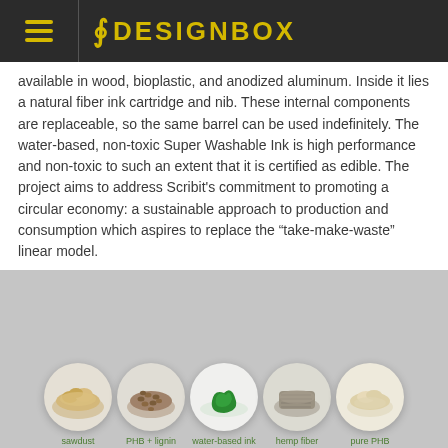8 DESIGNBOX
available in wood, bioplastic, and anodized aluminum. Inside it lies a natural fiber ink cartridge and nib. These internal components are replaceable, so the same barrel can be used indefinitely. The water-based, non-toxic Super Washable Ink is high performance and non-toxic to such an extent that it is certified as edible. The project aims to address Scribit's commitment to promoting a circular economy: a sustainable approach to production and consumption which aspires to replace the “take-make-waste” linear model.
[Figure (photo): Five circular white plates on a gray background, each containing a different natural material: sawdust, PHB + lignin, water-based ink (green liquid), hemp fiber, and pure PHB. Labels in green text below each plate.]